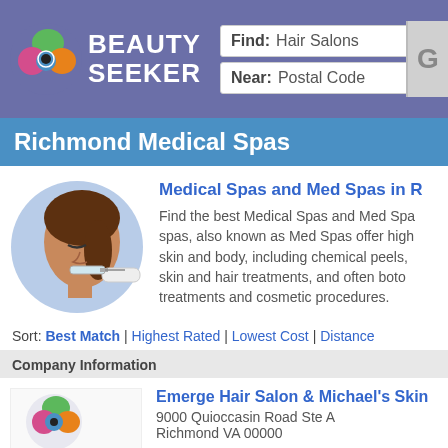Beauty Seeker — Find: Hair Salons | Near: Postal Code
Richmond Medical Spas
[Figure (illustration): Circle illustration of a woman receiving a facial injection treatment]
Medical Spas and Med Spas in R
Find the best Medical Spas and Med Spas... spas, also known as Med Spas offer high... skin and body, including chemical peels, ... skin and hair treatments, and often boto... treatments and cosmetic procedures.
Sort: Best Match | Highest Rated | Lowest Cost | Distance
Company Information
[Figure (logo): Beauty Seeker swirl logo for Emerge Hair Salon listing]
Emerge Hair Salon & Michael's Skin
9000 Quioccasin Road Ste A
Richmond VA 00000